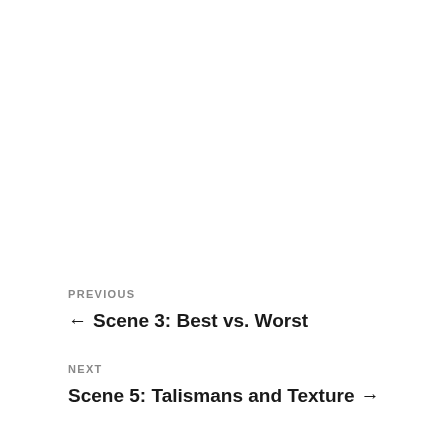PREVIOUS
← Scene 3: Best vs. Worst
NEXT
Scene 5: Talismans and Texture →